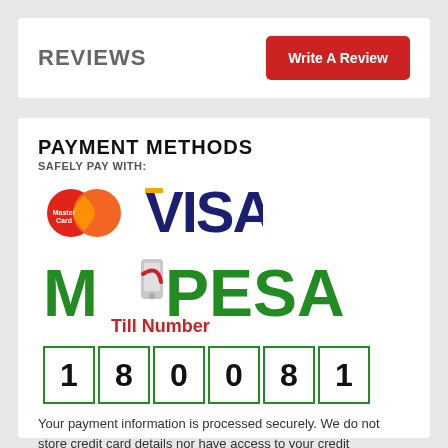REVIEWS
Write A Review
PAYMENT METHODS
SAFELY PAY WITH:
[Figure (logo): MasterCard and Visa payment logos]
[Figure (logo): M-PESA Till Number logo with number 180081]
Your payment information is processed securely. We do not store credit card details nor have access to your credit